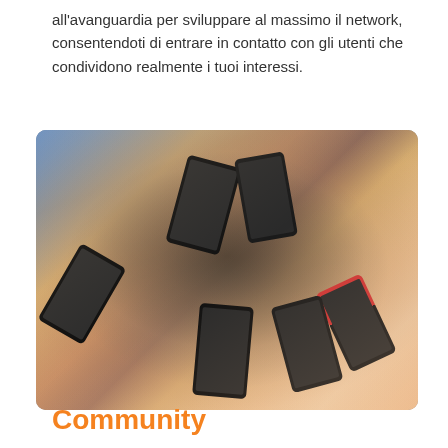all'avanguardia per sviluppare al massimo il network, consentendoti di entrare in contatto con gli utenti che condividono realmente i tuoi interessi.
[Figure (photo): Multiple hands holding smartphones pointed inward in a circle, seen from above, people gathered around sharing or comparing their mobile screens.]
Community